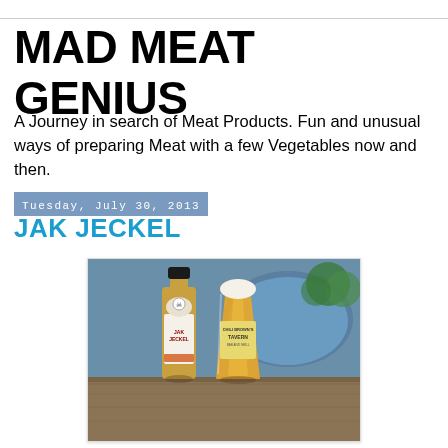MAD MEAT GENIUS
A Journey in search of Meat Products. Fun and unusual ways of preparing Meat with a few Vegetables now and then.
Tuesday, July 30, 2013
JAK JECKEL
[Figure (photo): A hot sauce bottle labeled 'Jak Jeckel' next to a pint glass of beer labeled 'Chili Brown's Tavern', sitting on an outdoor wooden table with a blue grill lid in the background.]